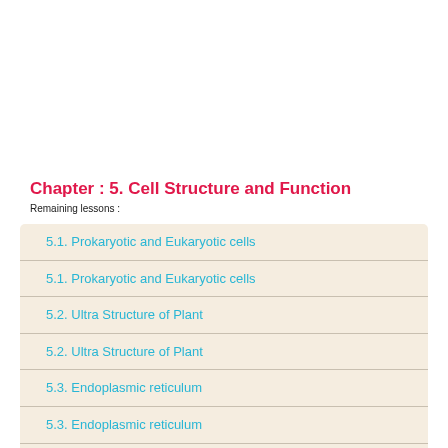Chapter : 5. Cell Structure and Function
Remaining lessons :
5.1. Prokaryotic and Eukaryotic cells
5.1. Prokaryotic and Eukaryotic cells
5.2. Ultra Structure of Plant
5.2. Ultra Structure of Plant
5.3. Endoplasmic reticulum
5.3. Endoplasmic reticulum
5.4. Mitochondria